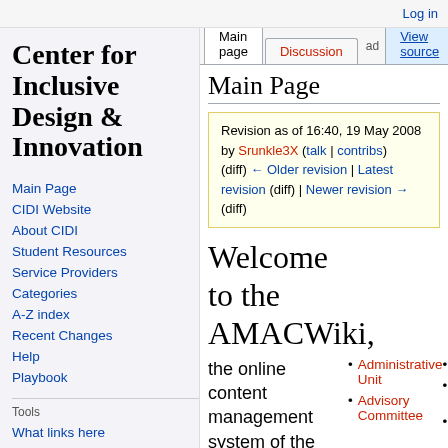Log in
Center for Inclusive Design & Innovation
Main Page
CIDI Website
About CIDI
Student Resources
Service Providers
Categories
A-Z index
Recent Changes
Help
Playbook
Tools
What links here
Related changes
Main Page
Revision as of 16:40, 19 May 2008 by Srunkle3X (talk | contribs) (diff) ← Older revision | Latest revision (diff) | Newer revision → (diff)
Welcome to the AMACWiki, the online content management system of the
Administrative Unit
Advisory Committee
IT
Pro Un
Re